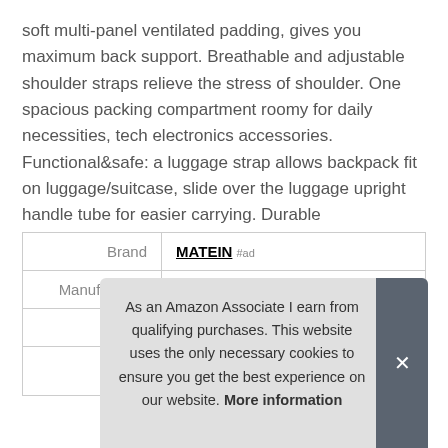soft multi-panel ventilated padding, gives you maximum back support. Breathable and adjustable shoulder straps relieve the stress of shoulder. One spacious packing compartment roomy for daily necessities, tech electronics accessories. Functional&safe: a luggage strap allows backpack fit on luggage/suitcase, slide over the luggage upright handle tube for easier carrying. Durable material&solid: made of water resistant and durable polyester Fabric with metal zippers.
|  |  |
| --- | --- |
| Brand | MATEIN #ad |
| Manufacturer | YoTwo #ad |
| Height | 7.8 Inches |
As an Amazon Associate I earn from qualifying purchases. This website uses the only necessary cookies to ensure you get the best experience on our website. More information